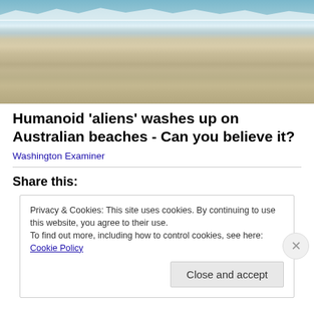[Figure (photo): Beach scene with ocean waves washing onto sandy shore, aerial/low-angle view showing white foam, blue-grey water, and wide sandy beach]
Humanoid 'aliens' washes up on Australian beaches - Can you believe it?
Washington Examiner
Share this:
Privacy & Cookies: This site uses cookies. By continuing to use this website, you agree to their use.
To find out more, including how to control cookies, see here: Cookie Policy